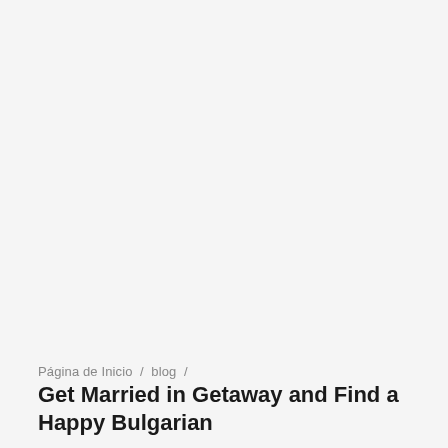Página de Inicio / blog /
Get Married in Getaway and Find a Happy Bulgarian